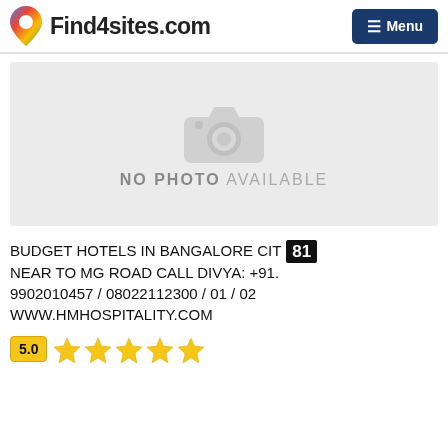Find4sites.com  ☰ Menu
[Figure (photo): No photo available placeholder with camera icon on grey background]
BUDGET HOTELS IN BANGALORE CIT 81 NEAR TO MG ROAD CALL DIVYA: +91. 9902010457 / 08022112300 / 01 / 02 WWW.HMHOSPITALITY.COM
5.0  ★★★★★